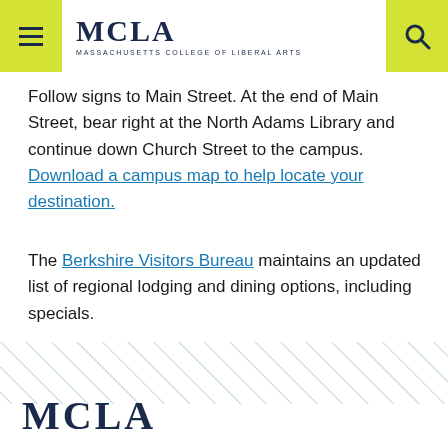MCLA — MASSACHUSETTS COLLEGE OF LIBERAL ARTS
Follow signs to Main Street. At the end of Main Street, bear right at the North Adams Library and continue down Church Street to the campus. Download a campus map to help locate your destination.
The Berkshire Visitors Bureau maintains an updated list of regional lodging and dining options, including specials.
[Figure (illustration): Diagonal blue line pattern strip across full width]
[Figure (logo): MCLA footer logo in dark navy]